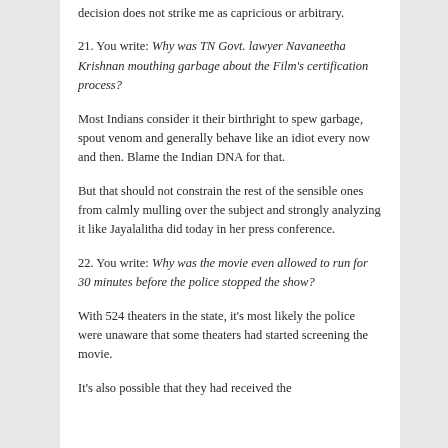decision does not strike me as capricious or arbitrary.
21. You write: Why was TN Govt. lawyer Navaneetha Krishnan mouthing garbage about the Film's certification process?
Most Indians consider it their birthright to spew garbage, spout venom and generally behave like an idiot every now and then. Blame the Indian DNA for that.
But that should not constrain the rest of the sensible ones from calmly mulling over the subject and strongly analyzing it like Jayalalitha did today in her press conference.
22. You write: Why was the movie even allowed to run for 30 minutes before the police stopped the show?
With 524 theaters in the state, it's most likely the police were unaware that some theaters had started screening the movie.
It's also possible that they had received the...